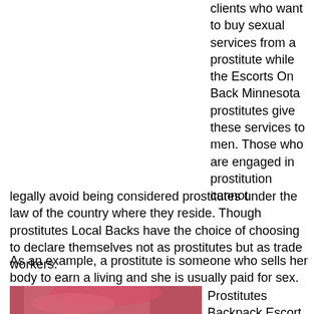clients who want to buy sexual services from a prostitute while the Escorts On Back Minnesota prostitutes give these services to men. Those who are engaged in prostitution cannot legally avoid being considered prostitutes under the law of the country where they reside. Though prostitutes Local Backs have the choice of choosing to declare themselves not as prostitutes but as trade workers.
As an example, a prostitute is someone who sells her body to earn a living and she is usually paid for sex.
[Figure (photo): Photo of a person with pink/red hair, partially visible at bottom of page]
Prostitutes Backpack Escort